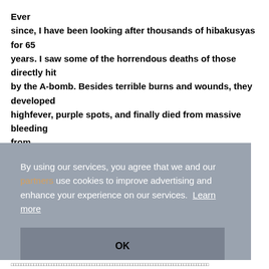Ever since, I have been looking after thousands of hibakusyas for 65 years. I saw some of the horrendous deaths of those directly hit by the A-bomb. Besides terrible burns and wounds, they developed highfever, purple spots, and finally died from massive bleeding from
By using our services, you agree that we and our partners use cookies to improve advertising and enhance your experience on our services. Learn more
OK
□□□□□□□□□□□□□□□□□□□□□□□□□□□□□□□□□□□□□□□□□□□□□□□□□□□□□□□□□□□□□□□□□□□□□□□□□□□□